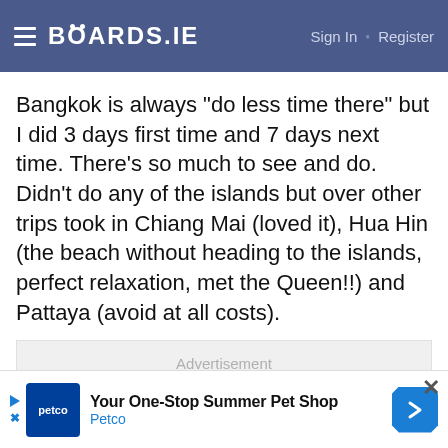BOARDS.IE  Sign In · Register
Bangkok is always "do less time there" but I did 3 days first time and 7 days next time. There's so much to see and do. Didn't do any of the islands but over other trips took in Chiang Mai (loved it), Hua Hin (the beach without heading to the islands, perfect relaxation, met the Queen!!) and Pattaya (avoid at all costs).
[Figure (other): Advertisement placeholder box with label 'Advertisement']
[Figure (other): Petco banner advertisement: 'Your One-Stop Summer Pet Shop' with Petco logo and arrow icon]